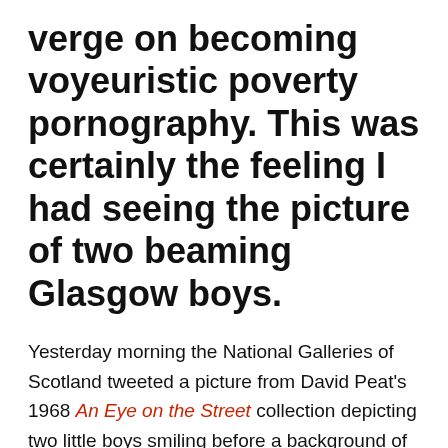verge on becoming voyeuristic poverty pornography. This was certainly the feeling I had seeing the picture of two beaming Glasgow boys.
Yesterday morning the National Galleries of Scotland tweeted a picture from David Peat's 1968 An Eye on the Street collection depicting two little boys smiling before a background of broken down Glasgow tenement buildings and a scene of, quite frankly, disturbing urban squalor.